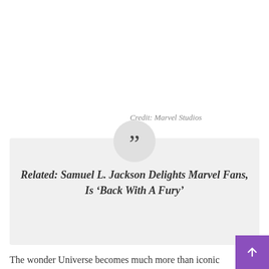Credit: Marvel Studios
Related: Samuel L. Jackson Delights Marvel Fans, Is ‘Back With A Fury’
The wonder Universe becomes much more than iconic